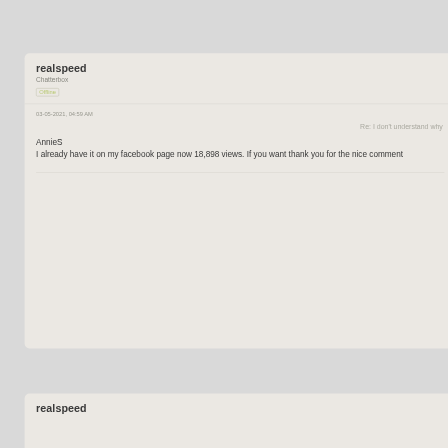realspeed
Chatterbox
Offline
03-05-2021, 04:59 AM
Re: I don't understand why
AnnieS
I already have it on my facebook page now 18,898 views. If you want thank you for the nice comment
realspeed